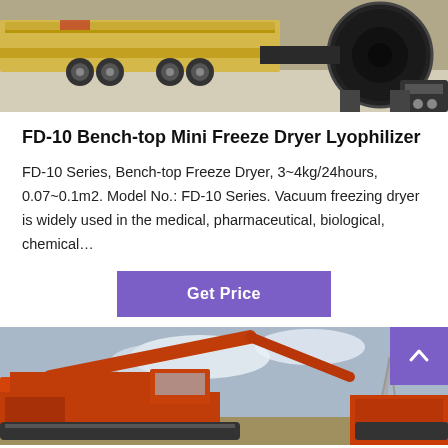[Figure (photo): Industrial machinery: a yellow heavy-duty lowbed trailer and a black cylindrical drum/dryer component on a concrete surface.]
FD-10 Bench-top Mini Freeze Dryer Lyophilizer
FD-10 Series, Bench-top Freeze Dryer, 3~4kg/24hours, 0.07~0.1m2. Model No.: FD-10 Series. Vacuum freezing dryer is widely used in the medical, pharmaceutical, biological, chemical…
[Figure (other): Purple 'Get Price' button]
[Figure (photo): Orange industrial crusher or mining equipment photographed against a cloudy sky.]